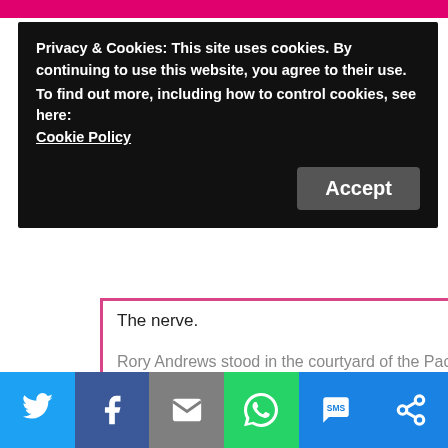Privacy & Cookies: This site uses cookies. By continuing to use this website, you agree to their use.
To find out more, including how to control cookies, see here:
Cookie Policy
Accept
The nerve.
Rory Andrews stood in the courtyard of the Pacific
[Figure (logo): Tasty Giveaway logo with cupcake icon and cursive text]
[Figure (infographic): Social share bar with Twitter, Facebook, Email, WhatsApp, SMS, and other share icons]